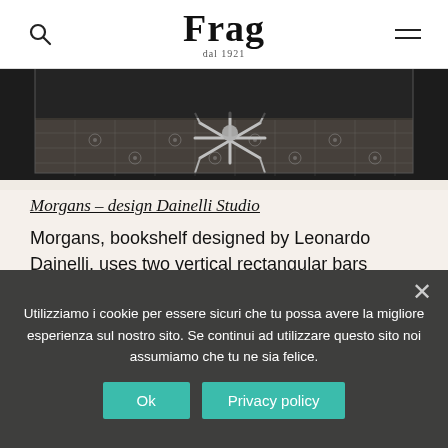Frag dal 1921
[Figure (photo): Close-up photo of a chair with chrome legs on a decorative patterned tile floor, viewed from above/side angle in dark tones]
Morgans – design Dainelli Studio
Morgans, bookshelf designed by Leonardo Dainelli, uses two vertical rectangular bars placed side by side that cross and fix five horizontal bars on each side: four, serve as support for the shelves while a fifth is fixed directly to the wall. The design of the metallic elements, with an almost industrial and constructivist st... refinement of the burnished brass finish and the precious leather covering of the shelves, creating an object with a peculiar and decorative aesthetic.
Utilizziamo i cookie per essere sicuri che tu possa avere la migliore esperienza sul nostro sito. Se continui ad utilizzare questo sito noi assumiamo che tu ne sia felice. Ok | Privacy policy